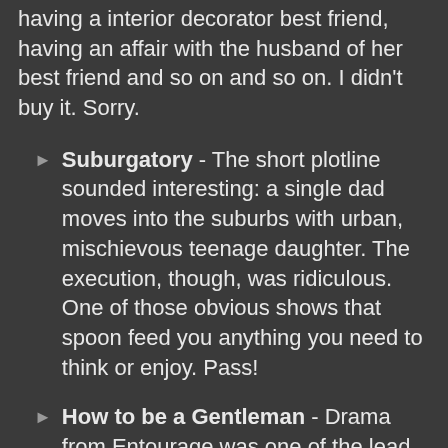having a interior decorator best friend, having an affair with the husband of her best friend and so on and so on. I didn't buy it. Sorry.
Suburgatory - The short plotline sounded interesting: a single dad moves into the suburbs with urban, mischievous teenage daughter. The execution, though, was ridiculous. One of those obvious shows that spoon feed you anything you need to think or enjoy. Pass!
How to be a Gentleman - Drama from Entourage was one of the lead